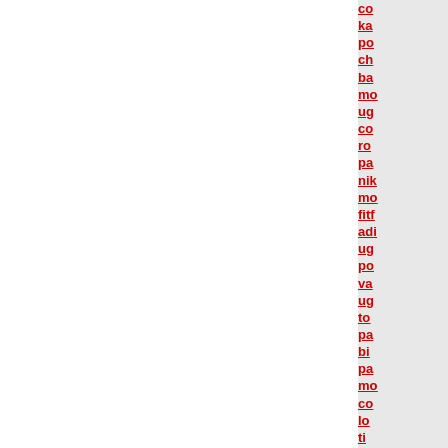co... ka... po... ch... ba... mo... ug... co... ro... pa... nik... mo... fitf... adi... ug... po... va... ug... to... pa... bi... pa... mo... co... lo... ti... re... su... gu... he... ph... ka... mo... mo... pa... lo... ch... co...